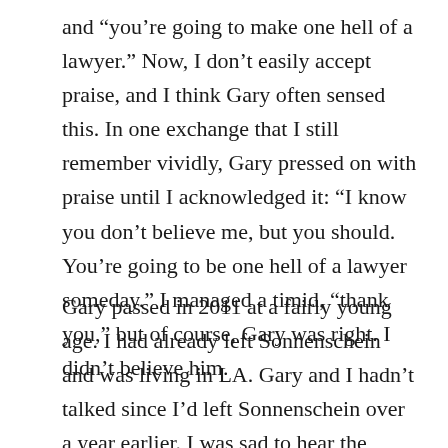and “you’re going to make one hell of a lawyer.” Now, I don’t easily accept praise, and I think Gary often sensed this. In one exchange that I still remember vividly, Gary pressed on with praise until I acknowledged it: “I know you don’t believe me, but you should. You’re going to be one hell of a lawyer someday.” I managed a timid, “thank you,” but of course, Gary was right. I didn’t believe him.
Gary passed in 2011 at a fairly young age. I had already left Sonnenschein and was living in LA. Gary and I hadn’t talked since I’d left Sonnenschein over a year earlier. I was sad to hear the news, and sadder still that I couldn’t pay my respects in person. And I’m embarrassed to admit that I didn’t think much more about it for years then…